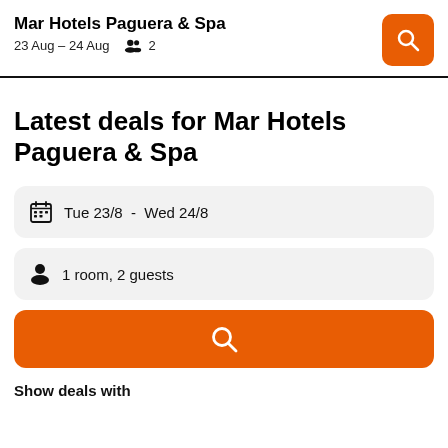Mar Hotels Paguera & Spa
23 Aug – 24 Aug  👥 2
Latest deals for Mar Hotels Paguera & Spa
Tue 23/8  -  Wed 24/8
1 room, 2 guests
Show deals with